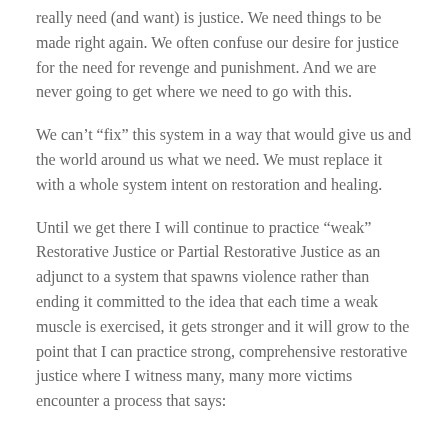really need (and want) is justice. We need things to be made right again. We often confuse our desire for justice for the need for revenge and punishment. And we are never going to get where we need to go with this.
We can't “fix” this system in a way that would give us and the world around us what we need. We must replace it with a whole system intent on restoration and healing.
Until we get there I will continue to practice “weak” Restorative Justice or Partial Restorative Justice as an adjunct to a system that spawns violence rather than ending it committed to the idea that each time a weak muscle is exercised, it gets stronger and it will grow to the point that I can practice strong, comprehensive restorative justice where I witness many, many more victims encounter a process that says: